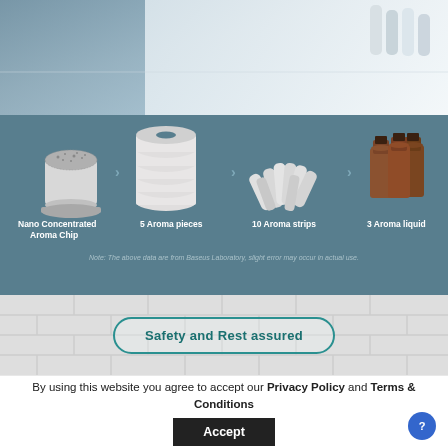[Figure (infographic): Product infographic showing Nano Concentrated Aroma Chip converts to 5 Aroma pieces, 10 Aroma strips, and 3 Aroma liquid, with arrows between each item on a dark teal background]
Note: The above data are from Baseus Laboratory, slight error may occur in actual use.
Safety and Rest assured
By using this website you agree to accept our Privacy Policy and Terms & Conditions
Accept